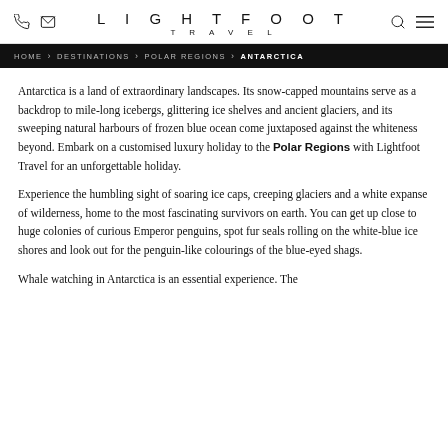LIGHTFOOT TRAVEL
HOME > DESTINATIONS > POLAR REGIONS > ANTARCTICA
Antarctica is a land of extraordinary landscapes. Its snow-capped mountains serve as a backdrop to mile-long icebergs, glittering ice shelves and ancient glaciers, and its sweeping natural harbours of frozen blue ocean come juxtaposed against the whiteness beyond. Embark on a customised luxury holiday to the Polar Regions with Lightfoot Travel for an unforgettable holiday.
Experience the humbling sight of soaring ice caps, creeping glaciers and a white expanse of wilderness, home to the most fascinating survivors on earth. You can get up close to huge colonies of curious Emperor penguins, spot fur seals rolling on the white-blue ice shores and look out for the penguin-like colourings of the blue-eyed shags.
Whale watching in Antarctica is an essential experience. The